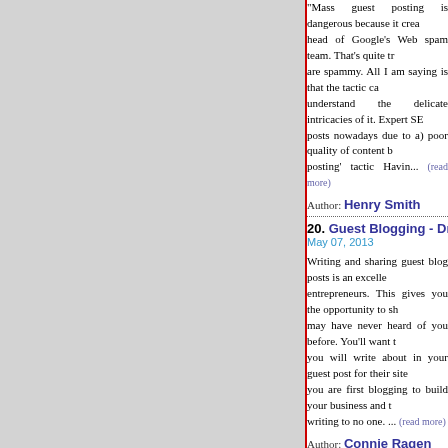"Mass guest posting is dangerous because it crea... head of Google's Web spam team. That's quite tr... are spammy. All I am saying is that the tactic ca... understand the delicate intricacies of it. Expert SE... posts nowadays due to a) poor quality of content b... posting' tactic Havin... (read more)
Author: Henry Smith
20. Guest Blogging - Drive Targeted Traffic To Y...
May 07, 2013
Writing and sharing guest blog posts is an excelle... entrepreneurs. This gives you the opportunity to sh... may have never heard of you before. You'll want t... you will write about in your guest post for their site... you are first blogging to build your business and t... writing to no one. ... (read more)
Author: Connie Ragen Green
21. How To Get Article Marketing Working For Y...
May 03, 2013
To give article marketing your best efforts possibl... businesses real results online. Your article market... great resource. Write guest blog posts. By writin...